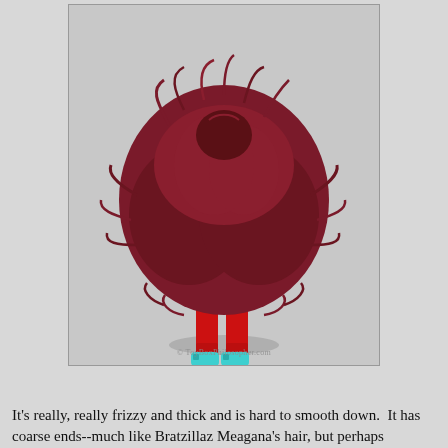[Figure (photo): Back view of a doll with massive, frizzy, voluminous dark red/burgundy hair that obscures most of its body. The doll wears red pants and bright turquoise/cyan shoes. Photo watermark reads '© ToyBoxPhilosopher.com'. Background is light grey.]
It's really, really frizzy and thick and is hard to smooth down.  It has coarse ends--much like Bratzillaz Meagana's hair, but perhaps